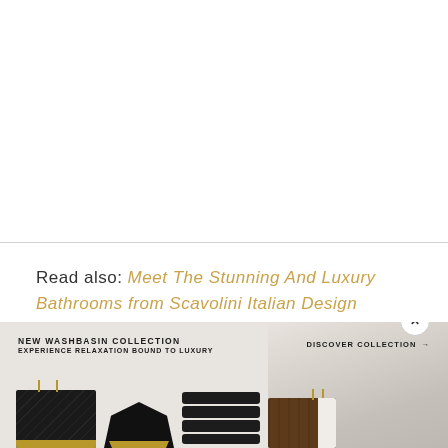Read also: Meet The Stunning And Luxury Bathrooms from Scavolini Italian Design
[Figure (photo): Advertisement banner for a new washbasin collection featuring four luxury washbasins: a black marble rectangular washbasin with gold base, a black faceted geometric washbasin with gold trim, a black ribbed/stacked washbasin, and a walnut wood washbasin with white stone top. Text reads: 'NEW WASHBASIN COLLECTION / EXPERIENCE RELAXATION BOUND TO LUXURY' and 'DISCOVER COLLECTION →'. A close (×) button is visible in the upper right.]